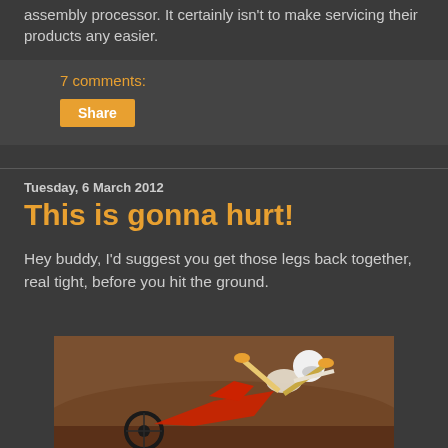assembly processor. It certainly isn't to make servicing their products any easier.
7 comments:
Share
Tuesday, 6 March 2012
This is gonna hurt!
Hey buddy, I'd suggest you get those legs back together, real tight, before you hit the ground.
[Figure (photo): A motocross rider crashing, separated from their red bike on a dirt track, legs spread in the air, wearing white helmet and gear.]